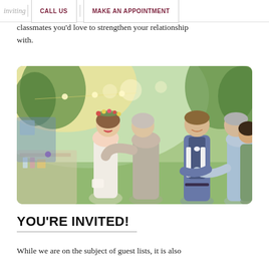CALL US | MAKE AN APPOINTMENT
classmates you'd love to strengthen your relationship with.
[Figure (photo): Outdoor wedding reception scene: a bride in a white dress with a floral crown hugs a woman in a grey-brown dress; in the background, a groom in a blue vest shakes hands with an older man in a light blue jacket; another woman in green is visible to the right; string lights and trees in the background.]
YOU'RE INVITED!
While we are on the subject of guest lists, it is also